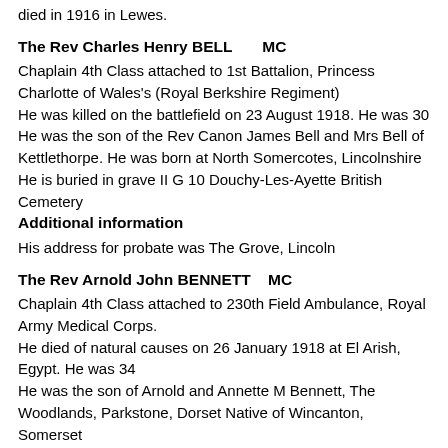died in 1916 in Lewes.
The Rev Charles Henry BELL   MC
Chaplain 4th Class attached to 1st Battalion, Princess Charlotte of Wales's (Royal Berkshire Regiment)
He was killed on the battlefield on 23 August 1918. He was 30
He was the son of the Rev Canon James Bell and Mrs Bell of Kettlethorpe. He was born at North Somercotes, Lincolnshire
He is buried in grave II G 10 Douchy-Les-Ayette British Cemetery
Additional information
His address for probate was The Grove, Lincoln
The Rev Arnold John BENNETT   MC
Chaplain 4th Class attached to 230th Field Ambulance, Royal Army Medical Corps.
He died of natural causes on 26 January 1918 at El Arish, Egypt. He was 34
He was the son of Arnold and Annette M Bennett, The Woodlands, Parkstone, Dorset Native of Wincanton, Somerset
He is buried in grave E 135 Kantara War Memorial  Cemetery